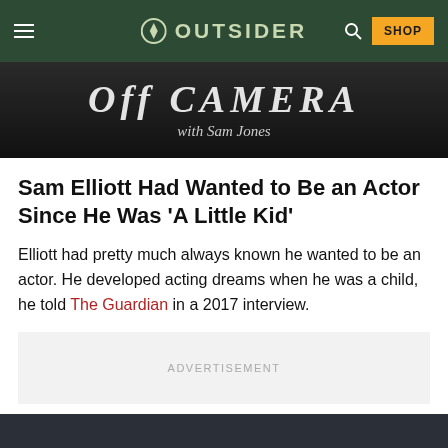OUTSIDER
[Figure (photo): Hero image showing 'Off Camera with Sam Jones' title card in black and white]
Sam Elliott Had Wanted to Be an Actor Since He Was 'A Little Kid'
Elliott had pretty much always known he wanted to be an actor. He developed acting dreams when he was a child, he told The Guardian in a 2017 interview.
ADVERTISEMENT